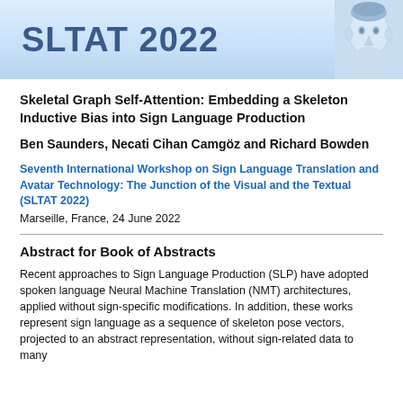[Figure (logo): SLTAT 2022 conference banner with blue gradient background showing 'SLTAT 2022' in bold blue text and a 3D rendered face/avatar on the right side]
Skeletal Graph Self-Attention: Embedding a Skeleton Inductive Bias into Sign Language Production
Ben Saunders, Necati Cihan Camgöz and Richard Bowden
Seventh International Workshop on Sign Language Translation and Avatar Technology: The Junction of the Visual and the Textual (SLTAT 2022)
Marseille, France, 24 June 2022
Abstract for Book of Abstracts
Recent approaches to Sign Language Production (SLP) have adopted spoken language Neural Machine Translation (NMT) architectures, applied without sign-specific modifications. In addition, these works represent sign language as a sequence of skeleton pose vectors, projected to an abstract representation, without sign-related data to many